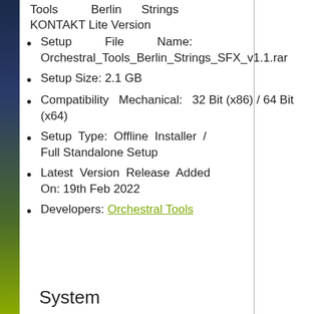Tools Berlin Strings KONTAKT Lite Version
Setup File Name: Orchestral_Tools_Berlin_Strings_SFX_v1.1.rar
Setup Size: 2.1 GB
Compatibility Mechanical: 32 Bit (x86) / 64 Bit (x64)
Setup Type: Offline Installer / Full Standalone Setup
Latest Version Release Added On: 19th Feb 2022
Developers: Orchestral Tools
System